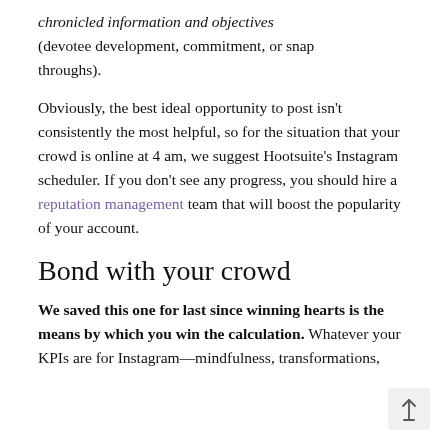chronicled information and objectives (devotee development, commitment, or snap throughs).
Obviously, the best ideal opportunity to post isn't consistently the most helpful, so for the situation that your crowd is online at 4 am, we suggest Hootsuite's Instagram scheduler. If you don't see any progress, you should hire a reputation management team that will boost the popularity of your account.
Bond with your crowd
We saved this one for last since winning hearts is the means by which you win the calculation. Whatever your KPIs are for Instagram—mindfulness, transformations,